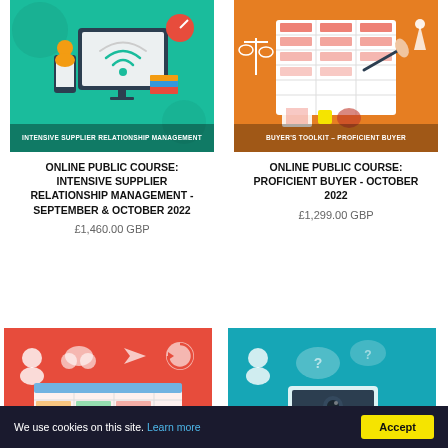[Figure (illustration): Teal background illustration showing a monitor with wifi signal, a phone, books, and a person with headset. Text at bottom: INTENSIVE SUPPLIER RELATIONSHIP MANAGEMENT]
[Figure (illustration): Orange background illustration showing a checklist/table being filled in with a pen, scales icon, rocket icon. Text at bottom: BUYER'S TOOLKIT – PROFICIENT BUYER]
ONLINE PUBLIC COURSE: INTENSIVE SUPPLIER RELATIONSHIP MANAGEMENT - SEPTEMBER & OCTOBER 2022
£1,460.00 GBP
ONLINE PUBLIC COURSE: PROFICIENT BUYER - OCTOBER 2022
£1,299.00 GBP
[Figure (illustration): Red background illustration with person icon, cloud icon, plane icon, clock/cycle icon, and a spreadsheet/table in center]
[Figure (illustration): Teal/cyan background illustration with person icon, speech bubble with question mark, webcam/monitor icon]
We use cookies on this site. Learn more
Accept